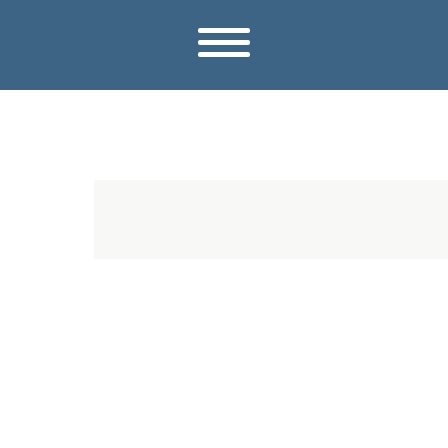[Figure (other): Blue header bar with hamburger menu icon (three horizontal white lines) centered at top of page]
[Figure (other): Light gray search bar / input area below header]
[Figure (other): Blue rectangle button with text SLOVENIA in white spaced letters, centered lower on the page]